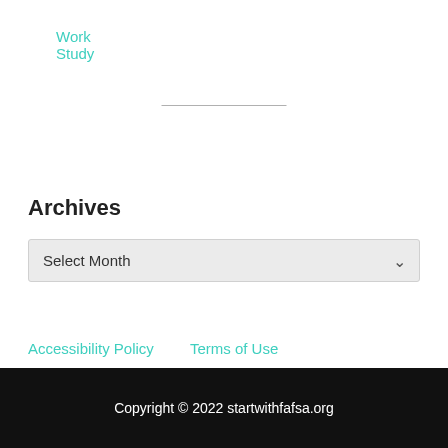Work Study
Archives
Select Month
Accessibility Policy    Terms of Use
Copyright © 2022 startwithfafsa.org